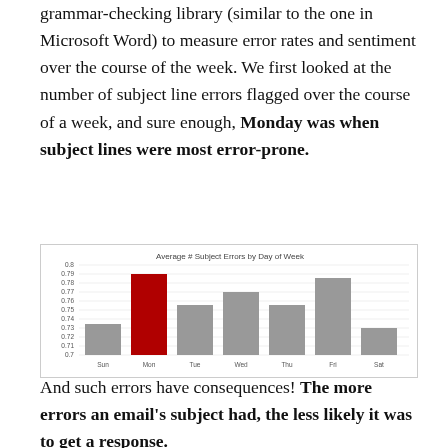grammar-checking library (similar to the one in Microsoft Word) to measure error rates and sentiment over the course of the week. We first looked at the number of subject line errors flagged over the course of a week, and sure enough, Monday was when subject lines were most error-prone.
[Figure (bar-chart): Average # Subject Errors by Day of Week]
And such errors have consequences! The more errors an email's subject had, the less likely it was to get a response.